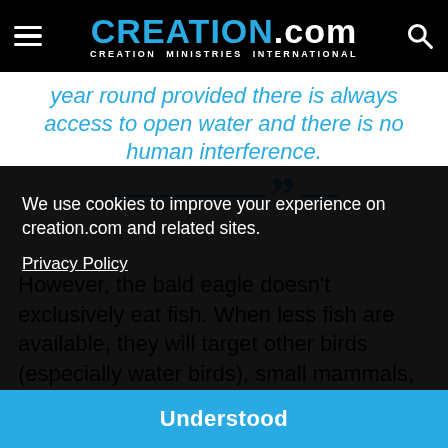CREATION.com — CREATION MINISTRIES INTERNATIONAL
year round provided there is always access to open water and there is no human interference.
However, the bald eagle doesn't exclusively eat fish. When less fish are available, they will target other birds (especially water birds), small mammals, snakes,
d bald
ptors
her,
ant
very
We use cookies to improve your experience on creation.com and related sites.
Privacy Policy
Understood